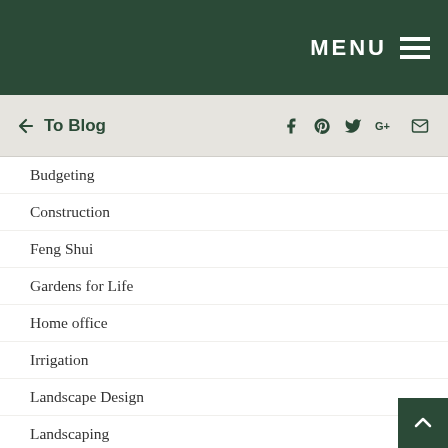MENU
← To Blog | f p t g+ ✉
Budgeting
Construction
Feng Shui
Gardens for Life
Home office
Irrigation
Landscape Design
Landscaping
Maintenance
Materials
Paving
Plants
Productive gardening